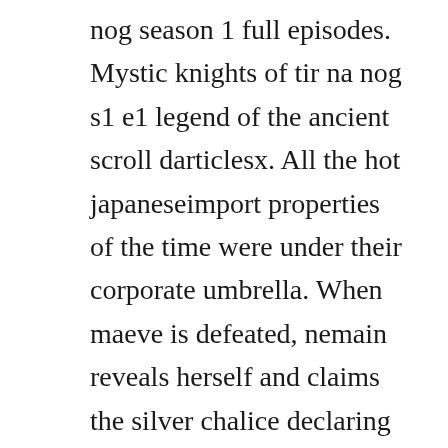nog season 1 full episodes. Mystic knights of tir na nog s1 e1 legend of the ancient scroll darticlesx. All the hot japaneseimport properties of the time were under their corporate umbrella. When maeve is defeated, nemain reveals herself and claims the silver chalice declaring her revenge on maeve complete. Lost in the trees soundcheck 52109 tir na nog 1 of 12 norman stevenson. Mystic knights of tir na nog s01 ep23 the fifth knight hd watch. Mystic knights folge 50 falsches spiel letzte folge. A full broadcast of a special snick block that aired for. Nov 26, 2017 151